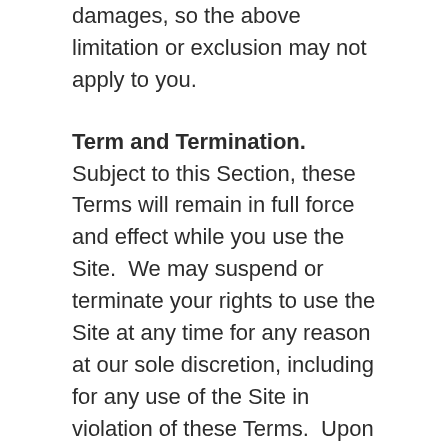damages, so the above limitation or exclusion may not apply to you.
Term and Termination. Subject to this Section, these Terms will remain in full force and effect while you use the Site. We may suspend or terminate your rights to use the Site at any time for any reason at our sole discretion, including for any use of the Site in violation of these Terms. Upon termination of your rights under these Terms, your Account and right to access and use the Site will terminate immediately. You understand that any termination of your Account may involve deletion of your User Content associated with your Account from our live databases. Company will not have any liability whatsoever to you for any termination of your rights under these Terms. Even after your